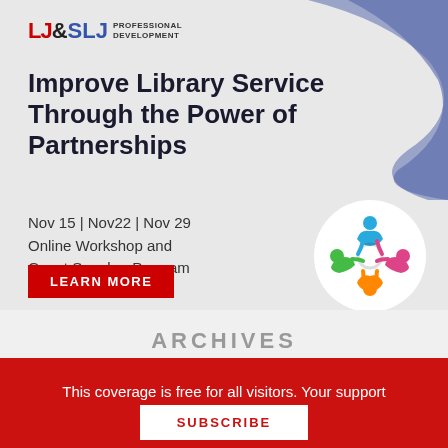[Figure (logo): LJ&SLJ Professional Development logo with red LJ, black ampersand, blue SLJ, and small PROFESSIONAL DEVELOPMENT text]
Improve Library Service Through the Power of Partnerships
Nov 15 | Nov22 | Nov 29
Online Workshop and Guest Speaker Program
LEARN MORE
[Figure (illustration): Colorful circular icon of four stylized people figures in blue, green, orange, and pink linking together in a circle, inside a white circle]
ARCHIVES
This coverage is free for all visitors. Your support makes this possible.
SUBSCRIBE